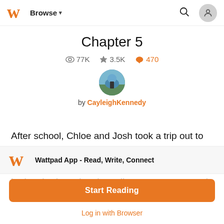Browse
Chapter 5
77K  3.5K  470
by CayleighKennedy
After school, Chloe and Josh took a trip out to the nearby coffee shop. "You need some caffeine before you do all those chores."
Wattpad App - Read, Write, Connect
Start Reading
Log in with Browser